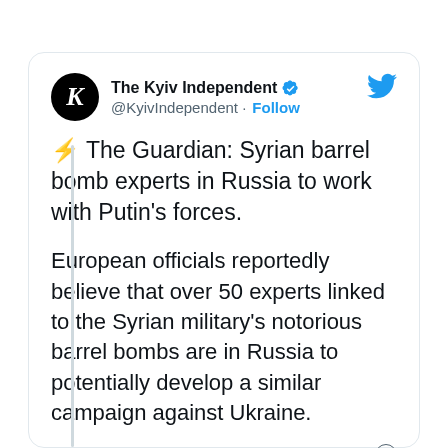[Figure (screenshot): Screenshot of a tweet from The Kyiv Independent (@KyivIndependent) with verified badge, showing tweet content about Syrian barrel bomb experts in Russia, posted at 10:58 PM · May 22, 2022, with a link to read the full conversation on Twitter.]
The Kyiv Independent @KyivIndependent · Follow
⚡ The Guardian: Syrian barrel bomb experts in Russia to work with Putin's forces.

European officials reportedly believe that over 50 experts linked to the Syrian military's notorious barrel bombs are in Russia to potentially develop a similar campaign against Ukraine.
10:58 PM · May 22, 2022
Read the full conversation on Twitter